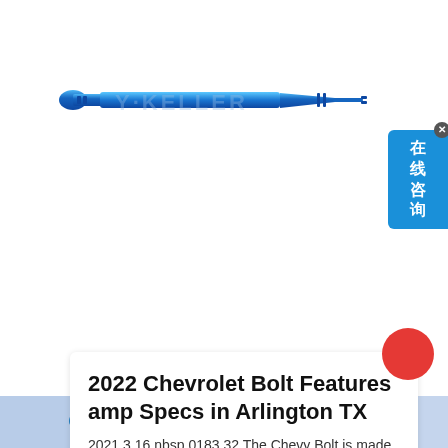[Figure (photo): Blue elongated tool or bolt-like component, photographed on white background, with watermark text 'Y·KELLER' overlaid]
2022 Chevrolet Bolt Features amp Specs in Arlington TX
2021 3 16 nbsp 0183 32 The Chevy Bolt is made with two trim levels and you can get